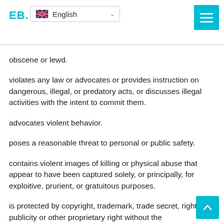EB. Notices
obscene or lewd.
violates any law or advocates or provides instruction on dangerous, illegal, or predatory acts, or discusses illegal activities with the intent to commit them.
advocates violent behavior.
poses a reasonable threat to personal or public safety.
contains violent images of killing or physical abuse that appear to have been captured solely, or principally, for exploitive, prurient, or gratuitous purposes.
is protected by copyright, trademark, trade secret, right of publicity or other proprietary right without the